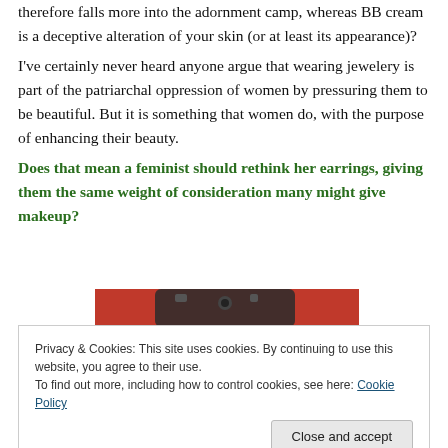therefore falls more into the adornment camp, whereas BB cream is a deceptive alteration of your skin (or at least its appearance)?
I've certainly never heard anyone argue that wearing jewelery is part of the patriarchal oppression of women by pressuring them to be beautiful. But it is something that women do, with the purpose of enhancing their beauty.
Does that mean a feminist should rethink her earrings, giving them the same weight of consideration many might give makeup?
[Figure (photo): Partial photo showing a red object (appears to be a phone or device) on a red background, cropped at the top of the cookie banner overlay]
Privacy & Cookies: This site uses cookies. By continuing to use this website, you agree to their use.
To find out more, including how to control cookies, see here: Cookie Policy
Close and accept